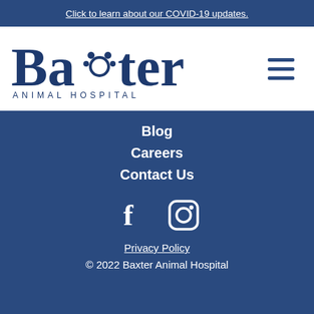Click to learn about our COVID-19 updates.
[Figure (logo): Baxter Animal Hospital logo — large serif 'Baxter' text with paw print replacing the x, and 'ANIMAL HOSPITAL' in spaced capitals below]
Blog
Careers
Contact Us
[Figure (infographic): Social media icons: Facebook (f) and Instagram (camera) icons in white on dark blue background]
Privacy Policy
© 2022 Baxter Animal Hospital